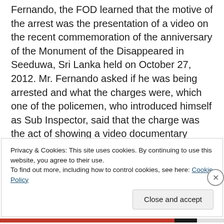Fernando, the FOD learned that the motive of the arrest was the presentation of a video on the recent commemoration of the anniversary of the Monument of the Disappeared in Seeduwa, Sri Lanka held on October 27, 2012. Mr. Fernando asked if he was being arrested and what the charges were, which one of the policemen, who introduced himself as Sub Inspector, said that the charge was the act of showing a video documentary against President Mahindra Rajapaksa. Mr. Fernando told the police that he took responsibility of the video and challenged the policemen to arrest him. The policemen responded that they only needed a copy of
Privacy & Cookies: This site uses cookies. By continuing to use this website, you agree to their use.
To find out more, including how to control cookies, see here: Cookie Policy
Close and accept